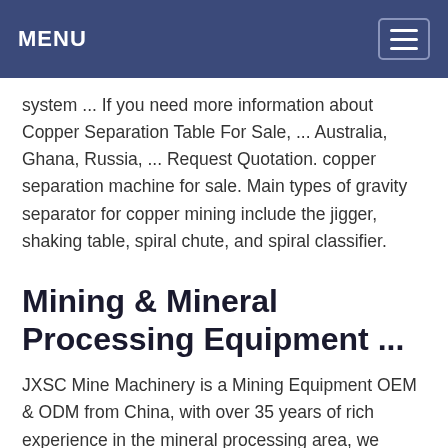MENU
system ... If you need more information about Copper Separation Table For Sale, ... Australia, Ghana, Russia, ... Request Quotation. copper separation machine for sale. Main types of gravity separator for copper mining include the jigger, shaking table, spiral chute, and spiral classifier.
Mining & Mineral Processing Equipment ...
JXSC Mine Machinery is a Mining Equipment OEM & ODM from China, with over 35 years of rich experience in the mineral processing area, we provide our global customers